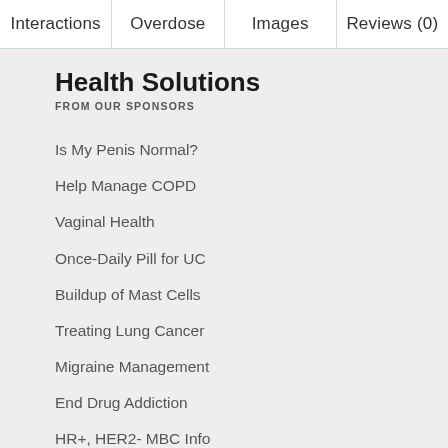Interactions | Overdose | Images | Reviews (0)
Health Solutions
FROM OUR SPONSORS
Is My Penis Normal?
Help Manage COPD
Vaginal Health
Once-Daily Pill for UC
Buildup of Mast Cells
Treating Lung Cancer
Migraine Management
End Drug Addiction
HR+, HER2- MBC Info
ADVERTISEMENT